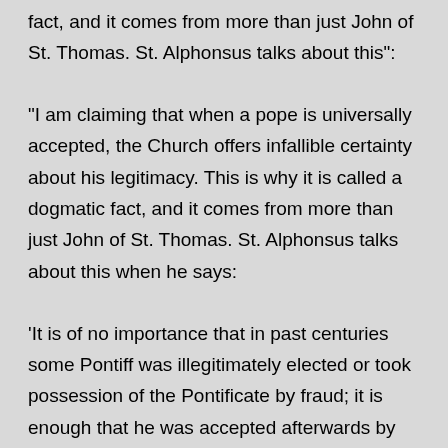fact, and it comes from more than just John of St. Thomas. St. Alphonsus talks about this":
"I am claiming that when a pope is universally accepted, the Church offers infallible certainty about his legitimacy. This is why it is called a dogmatic fact, and it comes from more than just John of St. Thomas. St. Alphonsus talks about this when he says:
'It is of no importance that in past centuries some Pontiff was illegitimately elected or took possession of the Pontificate by fraud; it is enough that he was accepted afterwards by the whole Church as Pope, since by such acceptance he would have become the true Pontiff.'"
[http://catholicmonitor.blogspot.com/2019/03/why-are-